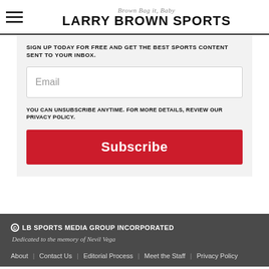Brown Bag it, Baby — LARRY BROWN SPORTS
SIGN UP TODAY FOR FREE AND GET THE BEST SPORTS CONTENT SENT TO YOUR INBOX.
Email
YOU CAN UNSUBSCRIBE ANYTIME. FOR MORE DETAILS, REVIEW OUR PRIVACY POLICY.
Subscribe
© LB SPORTS MEDIA GROUP INCORPORATED
Dedicated to the memory of Nevil Vega
About | Contact Us | Editorial Process | Meet the Staff | Privacy Policy